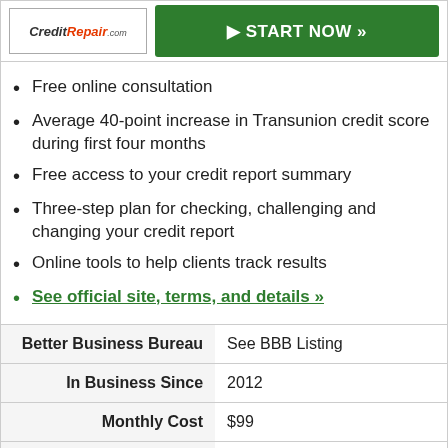[Figure (logo): CreditRepair.com logo in a bordered box]
[Figure (other): Green START NOW button]
Free online consultation
Average 40-point increase in Transunion credit score during first four months
Free access to your credit report summary
Three-step plan for checking, challenging and changing your credit report
Online tools to help clients track results
See official site, terms, and details »
| Label | Value |
| --- | --- |
| Better Business Bureau | See BBB Listing |
| In Business Since | 2012 |
| Monthly Cost | $99 |
| Reputation Score | 9.5/10 |
| Our Expert Review | 4.5/5.0 (see review) |